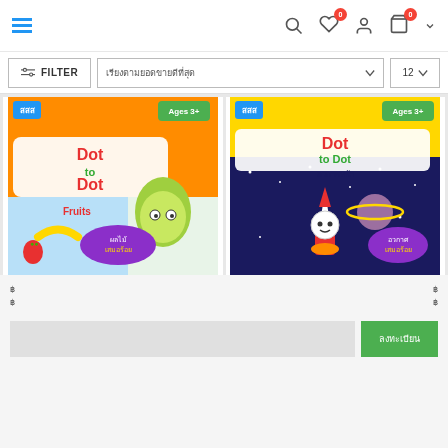Navigation header with menu, search, wishlist (0), account, cart (0)
FILTER
เรียงตามยอดขายดีที่สุด (Thai sort dropdown)
12 (per page dropdown)
[Figure (photo): Children's book cover: Dot to Dot Fruits, ages 3+, colorful kawaii fruit characters on orange/white background, Thai educational publisher]
[Figure (photo): Children's book cover: Dot to Dot Space theme, ages 3+, rocket and astronaut on dark blue starry background, Thai educational publisher]
฿ (price label left product)
฿ (price label right product)
฿ (price label)
฿ (price label)
ลงทะเบียน (submit button text)